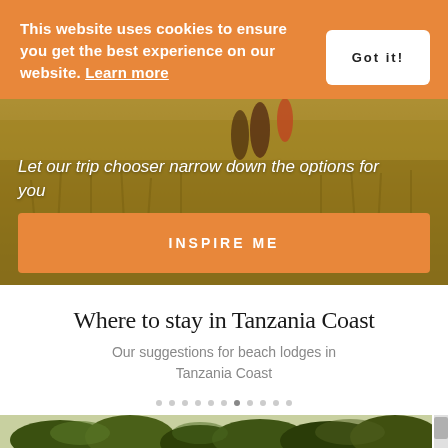This website uses cookies to ensure you get the best experience on our website. Learn more
Got it!
Let our trip chooser narrow down the options for you
INSPIRE ME
Where to stay in Tanzania Coast
Our suggestions for beach lodges in Tanzania Coast
[Figure (photo): Bottom strip showing treetops and landscape in Tanzania]